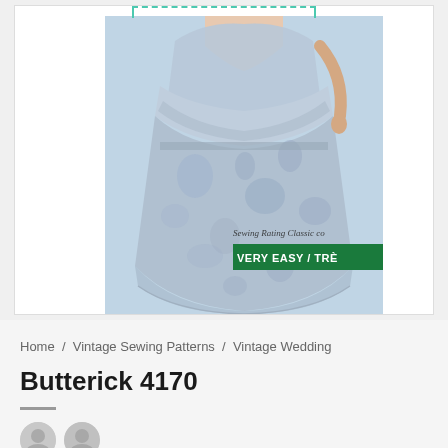[Figure (photo): Vintage sewing pattern envelope showing a woman wearing a light blue floral dress with peplum top and full skirt. Green banner reads 'VERY EASY / TRE' with 'Sewing Rating Classic' text. Dashed teal border at top.]
Home / Vintage Sewing Patterns / Vintage Wedding
Butterick 4170